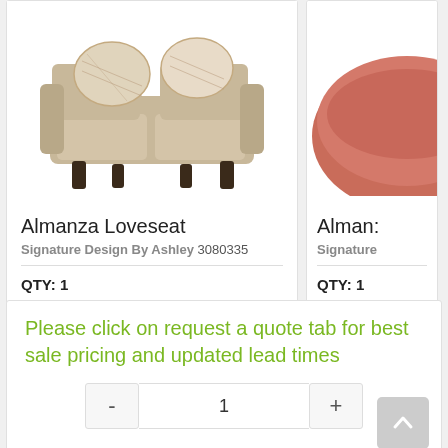[Figure (photo): Almanza Loveseat - beige/tan fabric loveseat with decorative floral pillows and dark wooden legs]
Almanza Loveseat
Signature Design By Ashley 3080335
QTY: 1
[Figure (photo): Almanza item (partially visible) - coral/terracotta round ottoman or accent piece]
Alman: Signature
QTY: 1
Please click on request a quote tab for best sale pricing and updated lead times